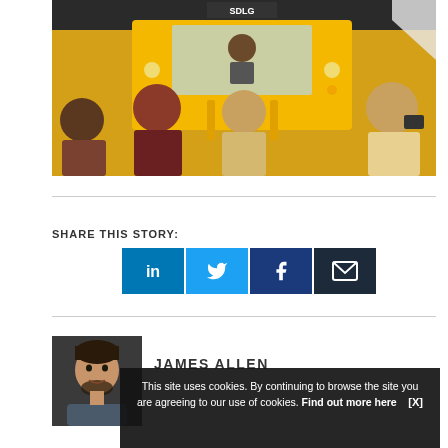[Figure (photo): People gathered around a yellow SDLG construction/loader machine at an exhibition. Several men in the foreground looking at the machine; one person is seated in the cab. A photographer with a camera is visible on the right.]
SHARE THIS STORY:
[Figure (infographic): Four social media share buttons: LinkedIn (blue), Twitter (light blue), Facebook (dark blue), Email (dark navy).]
[Figure (photo): Headshot photo of James Allen, a man with dark hair and beard smiling.]
JAMES ALLEN
This site uses cookies. By continuing to browse the site you are agreeing to our use of cookies. Find out more here    [X]